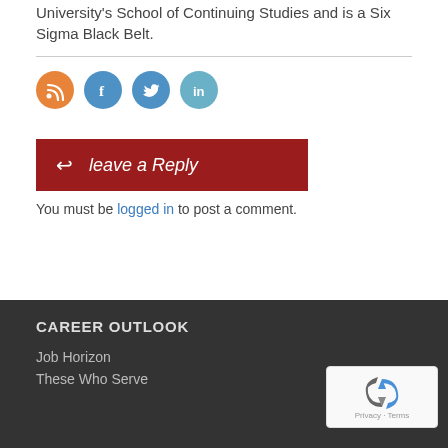University's School of Continuing Studies and is a Six Sigma Black Belt.
[Figure (illustration): Four social media icon circles: RSS (orange), Facebook (blue), Twitter (blue), LinkedIn (light blue)]
leave a Reply
You must be logged in to post a comment.
CAREER OUTLOOK
Job Horizon
These Who Serve